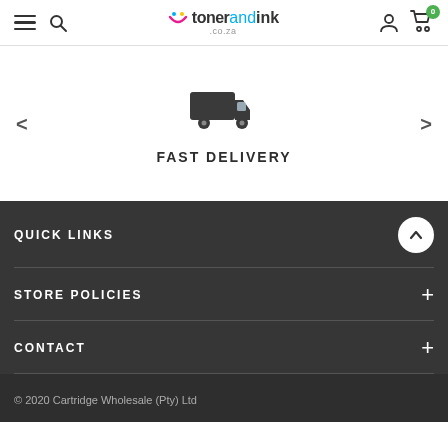tonerandink.co.za — navigation header
[Figure (illustration): Delivery truck icon (dark grey silhouette)]
FAST DELIVERY
QUICK LINKS
STORE POLICIES
CONTACT
© 2020 Cartridge Wholesale (Pty) Ltd